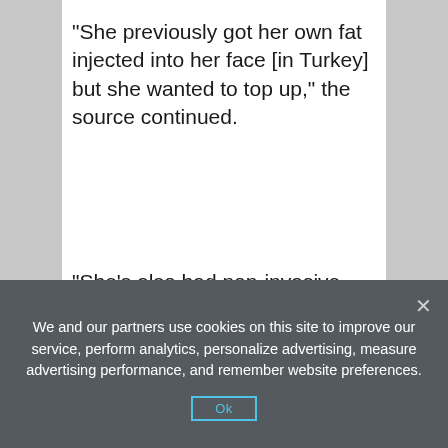"She previously got her own fat injected into her face [in Turkey] but she wanted to top up," the source continued.
"She's also had non-invasive lazer surgery on her chest to tighten it up. She's on a mission to look perfect and won't stop until she's happy with what she sees."
Fans might remember Dr Plovier as the surgeon who gave Katie a face lift while she
We and our partners use cookies on this site to improve our service, perform analytics, personalize advertising, measure advertising performance, and remember website preferences.